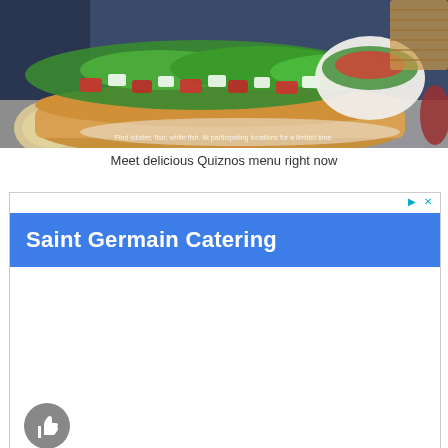[Figure (photo): Advertisement photo of a lobster or crab salad sub sandwich on a bun with green lettuce, red crab pieces and white dressing, next to a white bowl of salad and a lemon wedge. Small white disclaimer text at bottom: 'Find lobster, fish, white fish. At participating locations for a limited time.']
Meet delicious Quiznos menu right now
[Figure (screenshot): Advertisement banner for Saint Germain Catering with a blue header bar showing the company name in white bold text, with ad controls (triangle/play icon and X) in the top right corner. Below the blue bar is a white content area with a grey thumbs-up circle icon in the bottom left.]